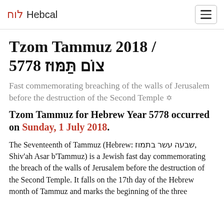לוח Hebcal
Tzom Tammuz 2018 / 5778 צוֹם תַּמּוּז
Fast commemorating breaching of the walls of Jerusalem before the destruction of the Second Temple ✡
Tzom Tammuz for Hebrew Year 5778 occurred on Sunday, 1 July 2018.
The Seventeenth of Tammuz (Hebrew: שבעה עשר בתמוז, Shiv'ah Asar b'Tammuz) is a Jewish fast day commemorating the breach of the walls of Jerusalem before the destruction of the Second Temple. It falls on the 17th day of the Hebrew month of Tammuz and marks the beginning of the three